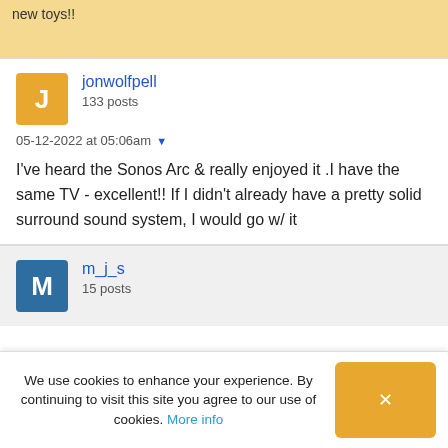new toys!!
jonwolfpell
133 posts
05-12-2022 at 05:06am
I've heard the Sonos Arc & really enjoyed it .I have the same TV - excellent!! If I didn't already have a pretty solid surround sound system, I would go w/ it
m_j_s
15 posts
We use cookies to enhance your experience. By continuing to visit this site you agree to our use of cookies. More info